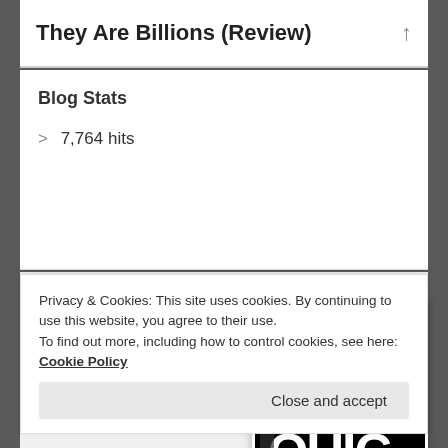They Are Billions (Review)
Blog Stats
> 7,764 hits
PREVIOUS ENTRY
Awesome Games Done Quick Recap!
[Figure (screenshot): Black and white game logo thumbnail showing text 'GAM DON QUIC' in large bold white letters on black background]
Privacy & Cookies: This site uses cookies. By continuing to use this website, you agree to their use.
To find out more, including how to control cookies, see here: Cookie Policy
Close and accept